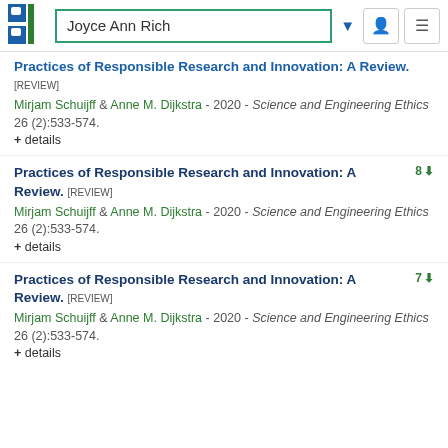Joyce Ann Rich
Practices of Responsible Research and Innovation: A Review. [REVIEW]
Mirjam Schuijff & Anne M. Dijkstra - 2020 - Science and Engineering Ethics 26 (2):533-574.
+ details
Practices of Responsible Research and Innovation: A Review. [REVIEW] 8
Mirjam Schuijff & Anne M. Dijkstra - 2020 - Science and Engineering Ethics 26 (2):533-574.
+ details
Practices of Responsible Research and Innovation: A Review. [REVIEW] 7
Mirjam Schuijff & Anne M. Dijkstra - 2020 - Science and Engineering Ethics 26 (2):533-574.
+ details